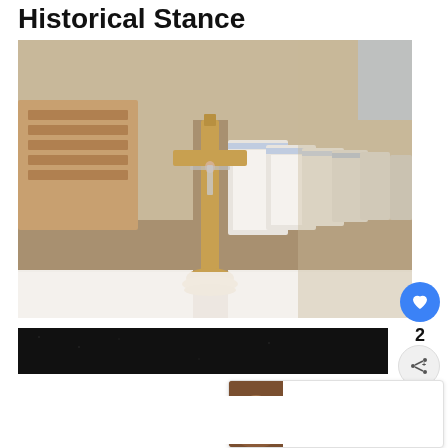Historical Stance
[Figure (photo): A golden crucifix standing on a white-draped altar with church pews decorated with white and blue fabric visible in the background, blurred.]
[Figure (photo): A dark/black advertisement banner image below the main photo.]
WHAT'S NEXT →
Do Pentecostal...